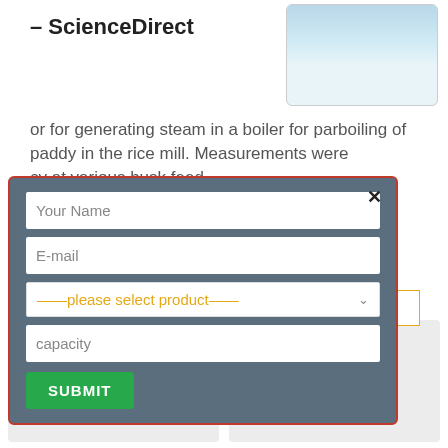– ScienceDirect
[Figure (photo): Small thumbnail image showing industrial/boiler facility with blue sky]
or for generating steam in a boiler for parboiling of paddy in the rice mill. Measurements were cy at various husk feed
[Figure (screenshot): Web form modal overlay with fields: Your Name, E-mail, please select product dropdown, capacity, and SUBMIT button. Has a close X button.]
More
Rwanda Thomson Coal Boilers
14mw 20t Oil Furnace